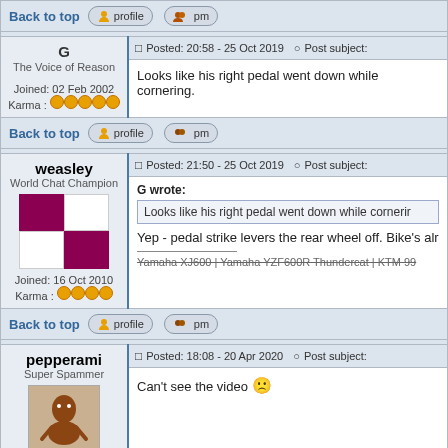Back to top | profile | pm
G - The Voice of Reason
Posted: 20:58 - 25 Oct 2019 Post subject:
Looks like his right pedal went down while cornering.
Joined: 02 Feb 2002
Karma: 5 dots
Back to top | profile | pm
weasley - World Chat Champion
Posted: 21:50 - 25 Oct 2019 Post subject:
G wrote:
Looks like his right pedal went down while cornering.
Yep - pedal strike levers the rear wheel off. Bike's alr...
Yamaha XJ600 | Yamaha YZF600R Thundercat | KTM 99...
Joined: 16 Oct 2010
Karma: 4 dots
Back to top | profile | pm
pepperami - Super Spammer
Posted: 18:08 - 20 Apr 2020 Post subject:
Can't see the video :(